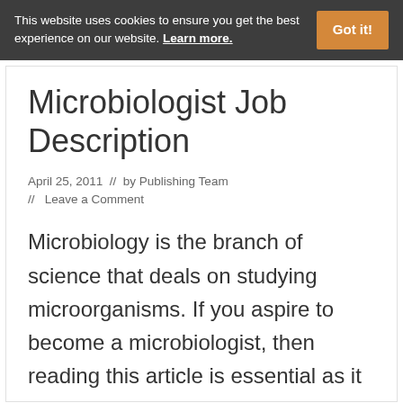This website uses cookies to ensure you get the best experience on our website. Learn more.
Microbiologist Job Description
April 25, 2011  //  by Publishing Team  //  Leave a Comment
Microbiology is the branch of science that deals on studying microorganisms. If you aspire to become a microbiologist, then reading this article is essential as it talks about the job description of